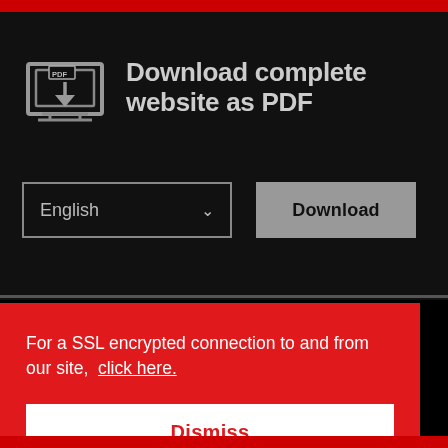[Figure (illustration): PDF download icon: laptop/monitor outline with PDF label and downward arrow, in gray]
Download complete website as PDF
English  ∨
Download
For a SSL encrypted connection to and from our site,  click here.
Dismiss